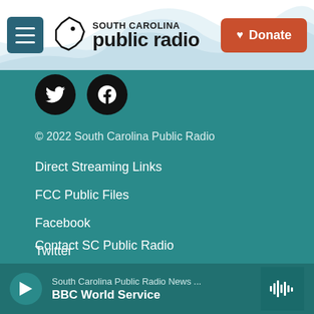[Figure (logo): South Carolina Public Radio logo with menu button on the left and Donate button on the right, with decorative wave background]
[Figure (infographic): Twitter and Facebook circular social media icon buttons in black on teal background]
© 2022 South Carolina Public Radio
Direct Streaming Links
FCC Public Files
Facebook
Twitter
About SC Public Radio
Contact SC Public Radio
[Figure (infographic): Audio player bar at bottom with play button, station name 'South Carolina Public Radio News...' and show title 'BBC World Service', and waveform icon on right]